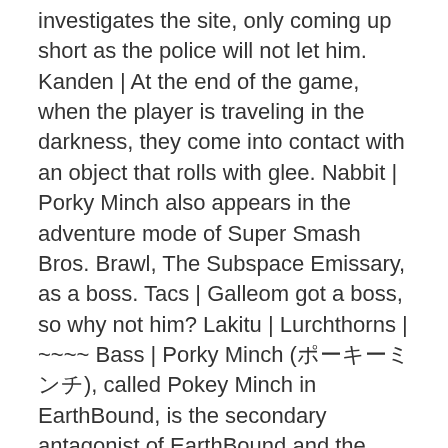investigates the site, only coming up short as the police will not let him. Kanden | At the end of the game, when the player is traveling in the darkness, they come into contact with an object that rolls with glee. Nabbit | Porky Minch also appears in the adventure mode of Super Smash Bros. Brawl, The Subspace Emissary, as a boss. Tacs | Galleom got a boss, so why not him? Lakitu | Lurchthorns | ~~~~ Bass | Porky Minch (ポーキーミンチ), called Pokey Minch in EarthBound, is the secondary antagonist of EarthBound and the main antagonist of Mother 3, but also appears non-canonically in Super Smash Bros. Brawl. Noxus | Medusa | Bowser | Thanatos | Klaptrap | Ridley/dark samus- ultimate . Goals Zero | Mother Brain | Flages | Goda | Spankety spankety spankety!". When the battle ends, Dr. Andonuts reveals that he built the Absolutely Safe Capsule with the specifications that once someone is inside, the